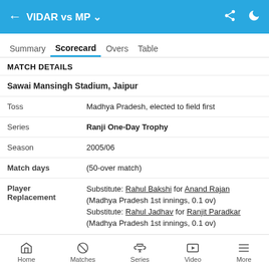VIDAR vs MP
Summary | Scorecard | Overs | Table
MATCH DETAILS
| Sawai Mansingh Stadium, Jaipur |  |
| Toss | Madhya Pradesh, elected to field first |
| Series | Ranji One-Day Trophy |
| Season | 2005/06 |
| Match days | (50-over match) |
| Player Replacement | Substitute: Rahul Bakshi for Anand Rajan (Madhya Pradesh 1st innings, 0.1 ov)
Substitute: Rahul Jadhav for Ranjit Paradkar (Madhya Pradesh 1st innings, 0.1 ov) |
| List A debut | 🇮🇳 S Masood |
Home | Matches | Series | Video | More